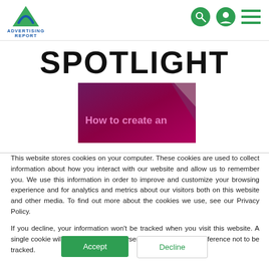ADVERTISING REPORT
SPOTLIGHT
[Figure (screenshot): Article thumbnail showing 'How to create an' text on a dark purple/magenta gradient background]
This website stores cookies on your computer. These cookies are used to collect information about how you interact with our website and allow us to remember you. We use this information in order to improve and customize your browsing experience and for analytics and metrics about our visitors both on this website and other media. To find out more about the cookies we use, see our Privacy Policy.
If you decline, your information won't be tracked when you visit this website. A single cookie will be used in your browser to remember your preference not to be tracked.
Accept
Decline